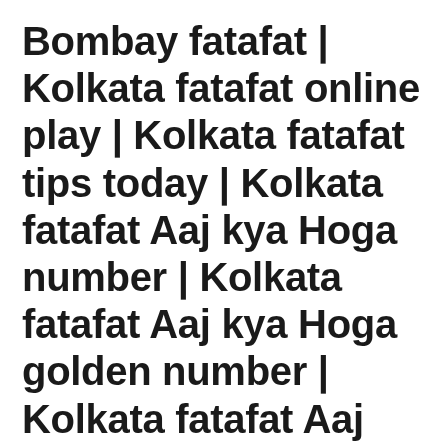Bombay fatafat | Kolkata fatafat online play | Kolkata fatafat tips today | Kolkata fatafat Aaj kya Hoga number | Kolkata fatafat Aaj kya Hoga golden number | Kolkata fatafat Aaj kya Hoga fastest result